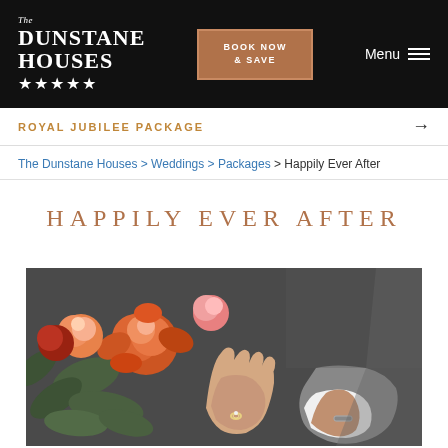The Dunstane Houses ★★★★★ | BOOK NOW & SAVE | Menu
ROYAL JUBILEE PACKAGE →
The Dunstane Houses > Weddings > Packages > Happily Ever After
HAPPILY EVER AFTER
[Figure (photo): Close-up photograph of two hands wearing wedding rings resting together, with an orange and red floral bouquet in the background.]